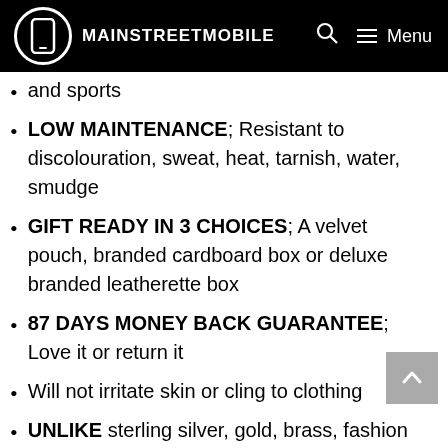MAINSTREETMOBILE
and sports
LOW MAINTENANCE; Resistant to discolouration, sweat, heat, tarnish, water, smudge
GIFT READY IN 3 CHOICES; A velvet pouch, branded cardboard box or deluxe branded leatherette box
87 DAYS MONEY BACK GUARANTEE; Love it or return it
Will not irritate skin or cling to clothing
UNLIKE sterling silver, gold, brass, fashion